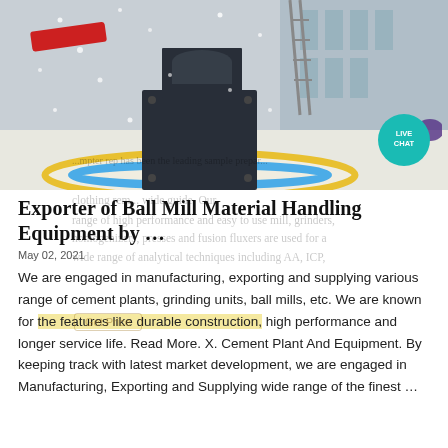[Figure (photo): Industrial ball mill or crusher machine photographed outdoors in snowy conditions, with yellow circle on ground and blue/red colored markings. A live chat button (teal circle) is visible in the top right corner of the image.]
Exporter of Ball Mill Material Handling Equipment by …
May 02, 2021
We are engaged in manufacturing, exporting and supplying various range of cement plants, grinding units, ball mills, etc. We are known for the features like durable construction, high performance and longer service life. Read More. X. Cement Plant And Equipment. By keeping track with latest market development, we are engaged in Manufacturing, Exporting and Supplying wide range of the finest …